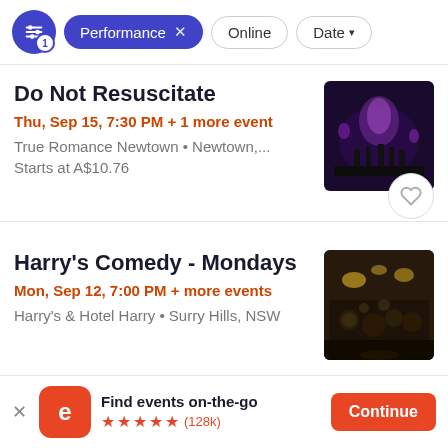Performance × | Online | Date ∨ | C
Do Not Resuscitate
Thu, Sep 15, 7:30 PM + 1 more event
True Romance Newtown • Newtown,...
Starts at A$10.76
Harry's Comedy - Mondays
Mon, Sep 12, 7:00 PM + more events
Harry's & Hotel Harry • Surry Hills, NSW
Find events on-the-go
★★★★★ (128k)